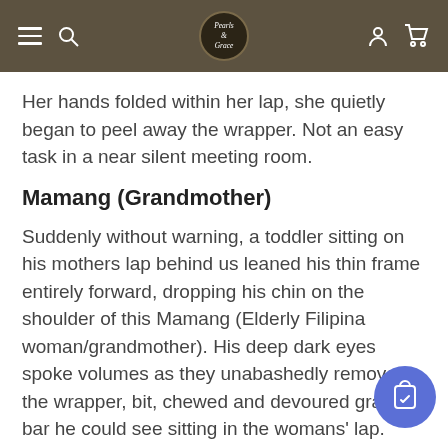Navigation bar with hamburger menu, search, logo, user and cart icons
Her hands folded within her lap, she quietly began to peel away the wrapper. Not an easy task in a near silent meeting room.
Mamang (Grandmother)
Suddenly without warning, a toddler sitting on his mothers lap behind us leaned his thin frame entirely forward, dropping his chin on the shoulder of this Mamang (Elderly Filipina woman/grandmother). His deep dark eyes spoke volumes as they unabashedly removed the wrapper, bit, chewed and devoured granola bar he could see sitting in the womans' lap.